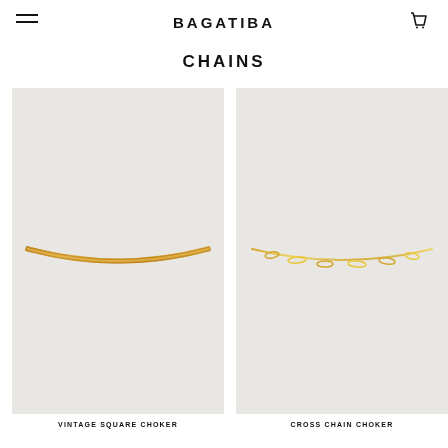BAGATIBA
CHAINS
[Figure (photo): Gold vintage square choker chain necklace on light grey background]
VINTAGE SQUARE CHOKER
[Figure (photo): Gold cross chain choker necklace on light grey background]
CROSS CHAIN CHOKER